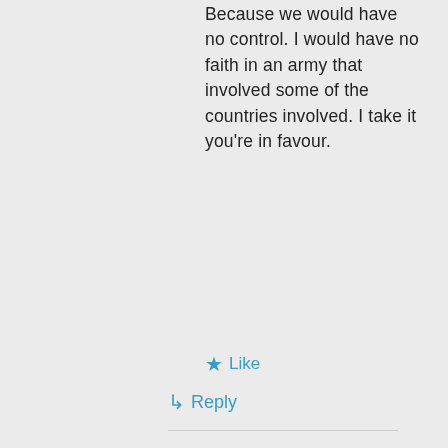Because we would have no control. I would have no faith in an army that involved some of the countries involved. I take it you're in favour.
★ Like
↳ Reply